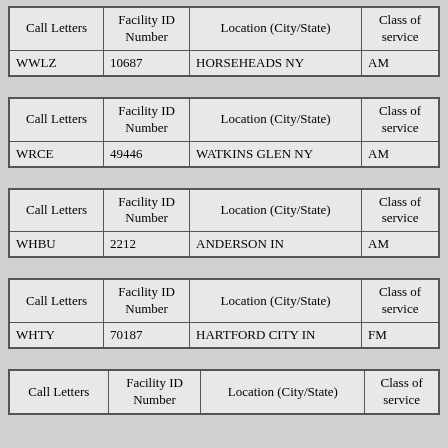| Call Letters | Facility ID Number | Location (City/State) | Class of service |
| --- | --- | --- | --- |
| WWLZ | 10687 | HORSEHEADS NY | AM |
| Call Letters | Facility ID Number | Location (City/State) | Class of service |
| --- | --- | --- | --- |
| WRCE | 49446 | WATKINS GLEN NY | AM |
| Call Letters | Facility ID Number | Location (City/State) | Class of service |
| --- | --- | --- | --- |
| WHBU | 2212 | ANDERSON IN | AM |
| Call Letters | Facility ID Number | Location (City/State) | Class of service |
| --- | --- | --- | --- |
| WHTY | 70187 | HARTFORD CITY IN | FM |
| Call Letters | Facility ID Number | Location (City/State) | Class of service |
| --- | --- | --- | --- |